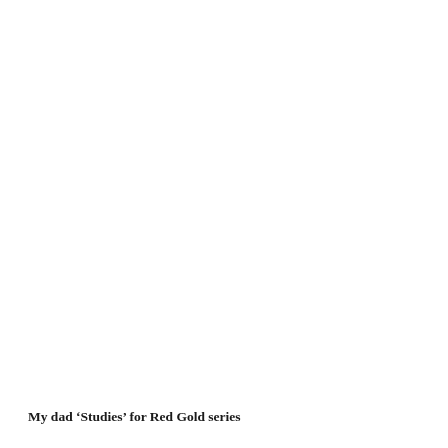My dad ‘Studies’ for Red Gold series